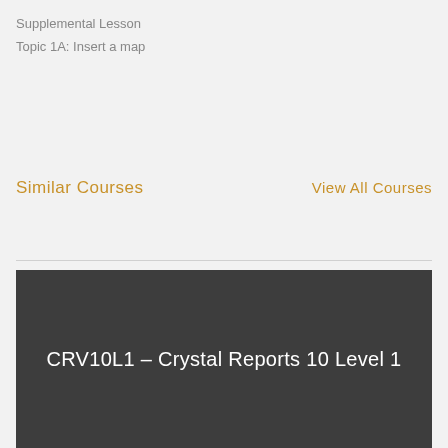Supplemental Lesson
Topic 1A: Insert a map
Similar Courses
View All Courses
CRV10L1 – Crystal Reports 10 Level 1